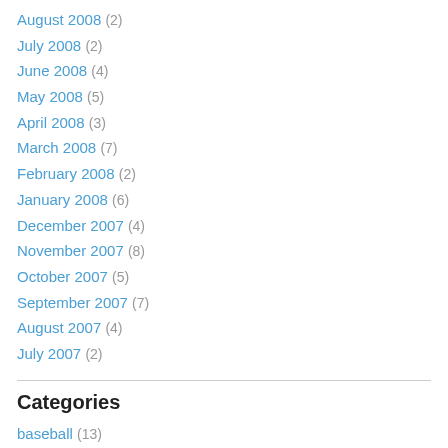August 2008 (2)
July 2008 (2)
June 2008 (4)
May 2008 (5)
April 2008 (3)
March 2008 (7)
February 2008 (2)
January 2008 (6)
December 2007 (4)
November 2007 (8)
October 2007 (5)
September 2007 (7)
August 2007 (4)
July 2007 (2)
Categories
baseball (13)
books (21)